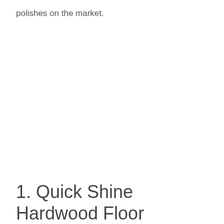polishes on the market.
1. Quick Shine Hardwood Floor